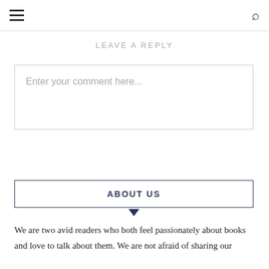☰ 🔍
LEAVE A REPLY
Enter your comment here...
ABOUT US
We are two avid readers who both feel passionately about books and love to talk about them. We are not afraid of sharing our